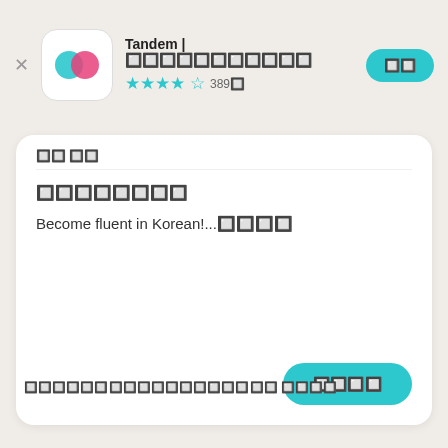Tandem | 언어교환 파트너 찾기
★★★★☆ 389개
열기
모든 리뷰
완전히 추천합니다
Become fluent in Korean!...더 보기
신고하기
이 리뷰가 도움이 되었나요? 좋아요